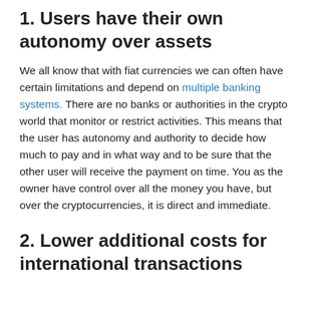1. Users have their own autonomy over assets
We all know that with fiat currencies we can often have certain limitations and depend on multiple banking systems. There are no banks or authorities in the crypto world that monitor or restrict activities. This means that the user has autonomy and authority to decide how much to pay and in what way and to be sure that the other user will receive the payment on time. You as the owner have control over all the money you have, but over the cryptocurrencies, it is direct and immediate.
2. Lower additional costs for international transactions